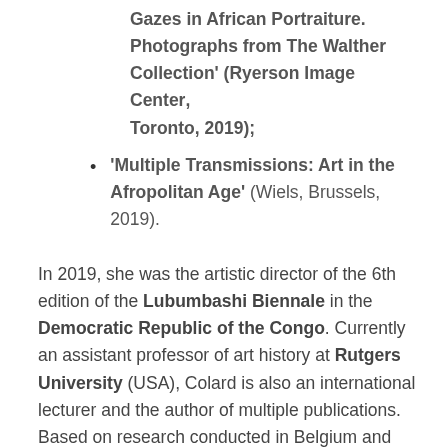Gazes in African Portraiture. Photographs from The Walther Collection' (Ryerson Image Center, Toronto, 2019);
'Multiple Transmissions: Art in the Afropolitan Age' (Wiels, Brussels, 2019).
In 2019, she was the artistic director of the 6th edition of the Lubumbashi Biennale in the Democratic Republic of the Congo. Currently an assistant professor of art history at Rutgers University (USA), Colard is also an international lecturer and the author of multiple publications. Based on research conducted in Belgium and the DRC, her current book project examines the history of photography in the colonial Congo